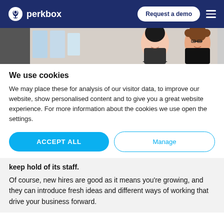perkbox — Request a demo
[Figure (photo): Two women smiling in an office environment, cropped hero image banner.]
We use cookies
We may place these for analysis of our visitor data, to improve our website, show personalised content and to give you a great website experience. For more information about the cookies we use open the settings.
ACCEPT ALL
Manage
keep hold of its staff.
Of course, new hires are good as it means you're growing, and they can introduce fresh ideas and different ways of working that drive your business forward.